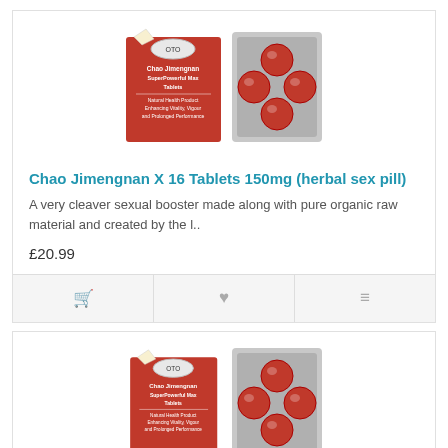[Figure (photo): Product image of Chao Jimengnan SuperPowerful Max Tablets - red box packaging and blister pack with red tablets]
Chao Jimengnan X 16 Tablets 150mg (herbal sex pill)
A very cleaver sexual booster made along with pure organic raw material and created by the l..
£20.99
[Figure (photo): Product image of Chao Jimengnan SuperPowerful Max Tablets - red box packaging and blister pack with red tablets (second product listing)]
Chao Jimengnan X 32 Tablets 150mg (herbal sex pill)
A very cleaver sexual booster made along with pure organic raw